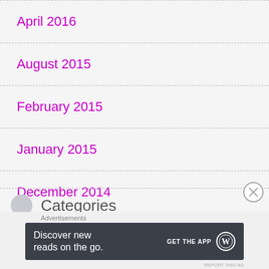April 2016
August 2015
February 2015
January 2015
December 2014
August 2014
July 2014
Categories
Advertisements
Discover new reads on the go. GET THE APP